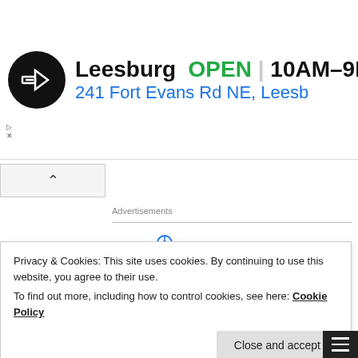[Figure (screenshot): Advertisement banner for a Leesburg store showing logo, OPEN status, hours 10AM-9PM, address 241 Fort Evans Rd NE, Leesb, and a navigation diamond icon]
Advertisements
[Figure (logo): Automattic logo in uppercase letters with a circular compass/target icon replacing the letter O]
Build a better web and a better world.
Privacy & Cookies: This site uses cookies. By continuing to use this website, you agree to their use.
To find out more, including how to control cookies, see here: Cookie Policy